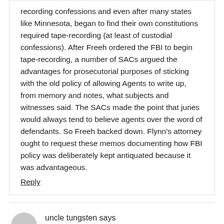recording confessions and even after many states like Minnesota, began to find their own constitutions required tape-recording (at least of custodial confessions). After Freeh ordered the FBI to begin tape-recording, a number of SACs argued the advantages for prosecutorial purposes of sticking with the old policy of allowing Agents to write up, from memory and notes, what subjects and witnesses said. The SACs made the point that juries would always tend to believe agents over the word of defendants. So Freeh backed down. Flynn's attorney ought to request these memos documenting how FBI policy was deliberately kept antiquated because it was advantageous.
Reply
uncle tungsten says